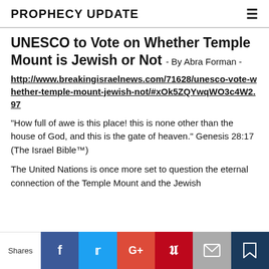PROPHECY UPDATE
UNESCO to Vote on Whether Temple Mount is Jewish or Not - By Abra Forman -
http://www.breakingisraelnews.com/71628/unesco-vote-whether-temple-mount-jewish-not/#xOk5ZQYwqWO3c4W2.97
"How full of awe is this place! this is none other than the house of God, and this is the gate of heaven." Genesis 28:17 (The Israel Bible™)
The United Nations is once more set to question the eternal connection of the Temple Mount and the Jewish
Shares | Facebook | Twitter | Google+ | Pinterest | Email | Bookmark